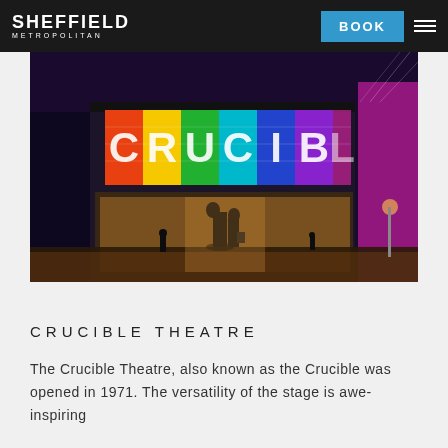SHEFFIELD METROPOLITAN | BOOK
[Figure (photo): Night-time exterior photograph of the Crucible Theatre with colourful illuminated signage spelling CRUCIBLE on the facade, silhouettes of people in the foreground, purple lighting on the right building]
CRUCIBLE THEATRE
The Crucible Theatre, also known as the Crucible was opened in 1971. The versatility of the stage is awe-inspiring